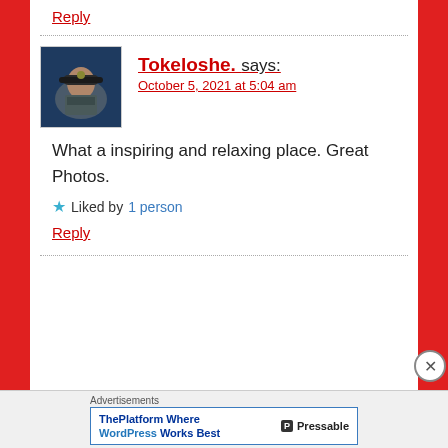Reply
[Figure (photo): Avatar photo of commenter Tokeloshe, a person wearing a hat and military-style jacket against a dark blue background]
Tokeloshe. says:
October 5, 2021 at 5:04 am
What a inspiring and relaxing place. Great Photos.
★ Liked by 1 person
Reply
Advertisements
ThePlatform Where WordPress Works Best — Pressable